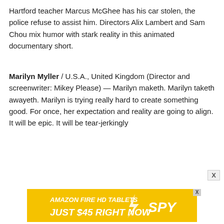Hartford teacher Marcus McGhee has his car stolen, the police refuse to assist him. Directors Alix Lambert and Sam Chou mix humor with stark reality in this animated documentary short.
Marilyn Myller / U.S.A., United Kingdom (Director and screenwriter: Mikey Please) — Marilyn maketh. Marilyn taketh awayeth. Marilyn is trying really hard to create something good. For once, her expectation and reality are going to align. It will be epic. It will be tear-jerkingly
[Figure (other): Advertisement banner for Amazon Fire HD Tablets — yellow background with bold white italic text reading 'AMAZON FIRE HD TABLETS / SPY' and 'JUST $45 RIGHT NOW'. Includes a small X close button.]